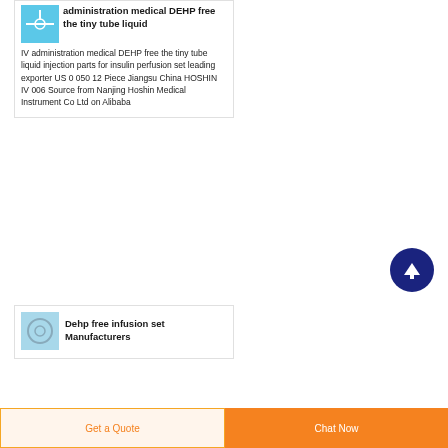administration medical DEHP free the tiny tube liquid
IV administration medical DEHP free the tiny tube liquid injection parts for insulin perfusion set leading exporter US 0 050 12 Piece Jiangsu China HOSHIN IV 006 Source from Nanjing Hoshin Medical Instrument Co Ltd on Alibaba
Dehp free infusion set Manufacturers
Get a Quote
Chat Now